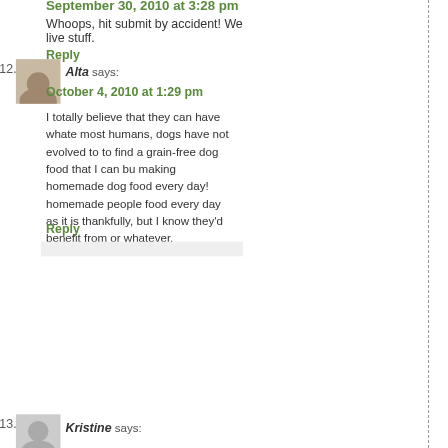September 30, 2010 at 3:28 pm
Whoops, hit submit by accident! We live stuff.
Reply
12. Alta says: October 4, 2010 at 1:29 pm
I totally believe that they can have whate most humans, dogs have not evolved to to find a grain-free dog food that I can bu making homemade dog food every day! homemade people food every day as it is thankfully, but I know they'd benefit from or whatever.
Reply
Melissa says: October 4, 2010 at 1:38 pm
Alta, I know, it's hard to keep up can't remember what he was in) There are various meat and pota always appreciate your input. Melissa
Reply
13. Kristine says: